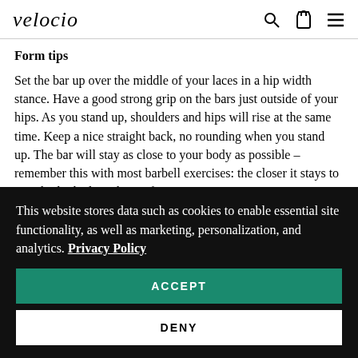velocio
Form tips
Set the bar up over the middle of your laces in a hip width stance. Have a good strong grip on the bars just outside of your hips. As you stand up, shoulders and hips will rise at the same time. Keep a nice straight back, no rounding when you stand up. The bar will stay as close to your body as possible – remember this with most barbell exercises: the closer it stays to your body the less chance for injuries.
Benefits
This website stores data such as cookies to enable essential site functionality, as well as marketing, personalization, and analytics. Privacy Policy
ACCEPT
DENY